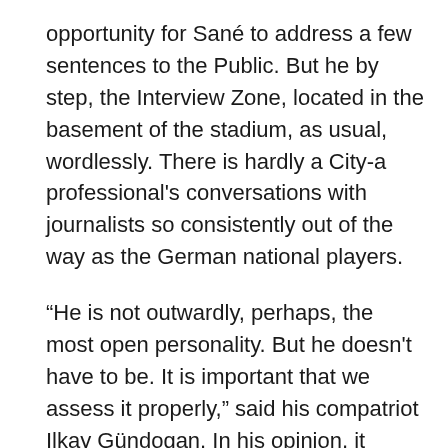opportunity for Sané to address a few sentences to the Public. But he by step, the Interview Zone, located in the basement of the stadium, as usual, wordlessly. There is hardly a City-a professional's conversations with journalists so consistently out of the way as the German national players.
“He is not outwardly, perhaps, the most open personality. But he doesn't have to be. It is important that we assess it properly,” said his compatriot Ilkay Gündogan. In his opinion, it would be a mistake to conclude from Sanés a defensive posture in dealing with the press on his character: “When you know him well, he is an extremely pleasant guy who is connected to many Jokes and a lot of fun.”
this year, however, there were also bleak moments for Sané. In the summer, national coach Joachim Löw cut him